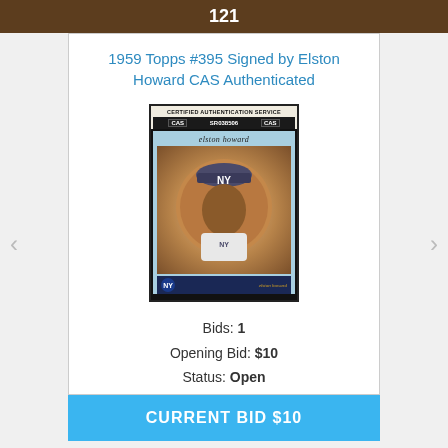121
1959 Topps #395 Signed by Elston Howard CAS Authenticated
[Figure (photo): A 1959 Topps baseball card #395 featuring Elston Howard, encased in a Certified Authentication Service (CAS) holder labeled SR038506. The card shows Elston Howard in a New York Yankees uniform with the NY logo on his cap.]
Bids: 1
Opening Bid: $10
Status: Open
CURRENT BID $10
122